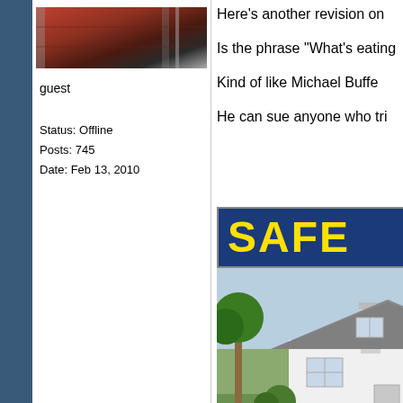[Figure (photo): Avatar photo of a brick building exterior with ladder, cropped top portion visible]
guest
Status: Offline
Posts: 745
Date: Feb 13, 2010
Here's another revision on
Is the phrase "What's eating
Kind of like Michael Buffe
He can sue anyone who tri
[Figure (photo): Advertisement banner showing the word SAFE in large yellow letters on a dark blue background, with a photo of a white house below it]